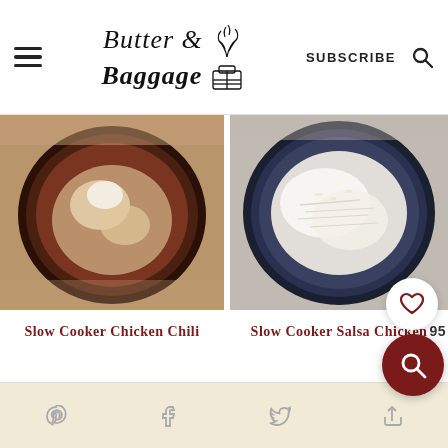Butter & Baggage – SUBSCRIBE
[Figure (photo): Bowl of Slow Cooker Chicken Chili with cheese topping]
Slow Cooker Chicken Chili
[Figure (photo): Bowl of Slow Cooker Salsa Chicken with white topping]
Slow Cooker Salsa Chicken
Social share icons: Pinterest, Facebook, Twitter, Email